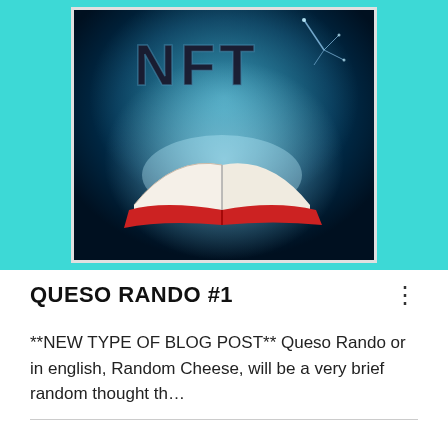[Figure (illustration): NFT blog post card image. Cyan/teal background with a framed digital art piece showing glowing 'NFT' letters at the top and an open book with glowing white pages at the bottom, set against a dark blue background.]
QUESO RANDO #1
**NEW TYPE OF BLOG POST** Queso Rando or in english, Random Cheese, will be a very brief random thought th…